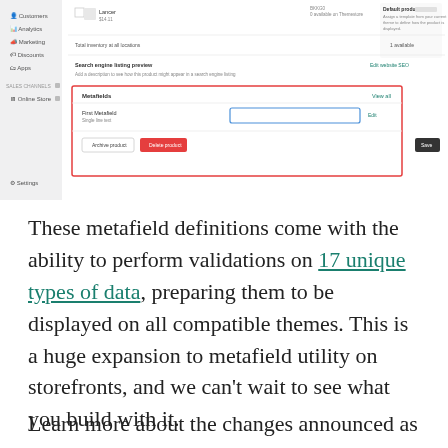[Figure (screenshot): Screenshot of a Shopify admin product page showing Metafields section with a red border highlight around it. The section shows 'First Metafield' with a text input, 'View all' link, and 'Archive product' and 'Delete product' buttons. Left sidebar shows navigation items: Customers, Analytics, Marketing, Discounts, Apps, Sales Channels, Online Store, Settings.]
These metafield definitions come with the ability to perform validations on 17 unique types of data, preparing them to be displayed on all compatible themes. This is a huge expansion to metafield utility on storefronts, and we can't wait to see what you build with it.
Learn more about the changes announced as